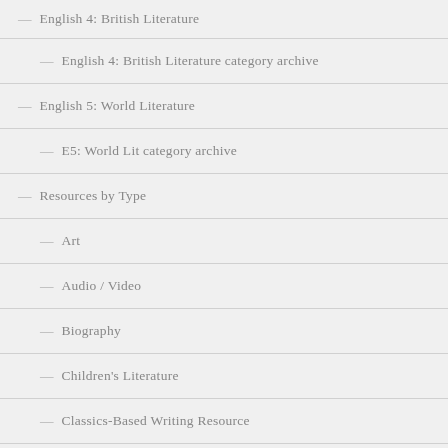English 4: British Literature
English 4: British Literature category archive
English 5: World Literature
E5: World Lit category archive
Resources by Type
Art
Audio / Video
Biography
Children's Literature
Classics-Based Writing Resource